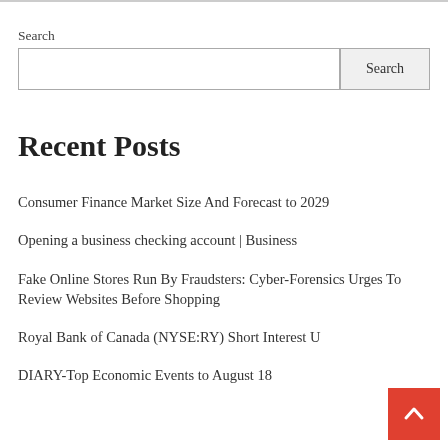Search
Search input and button
Recent Posts
Consumer Finance Market Size And Forecast to 2029
Opening a business checking account | Business
Fake Online Stores Run By Fraudsters: Cyber-Forensics Urges To Review Websites Before Shopping
Royal Bank of Canada (NYSE:RY) Short Interest Update
DIARY-Top Economic Events to August 18